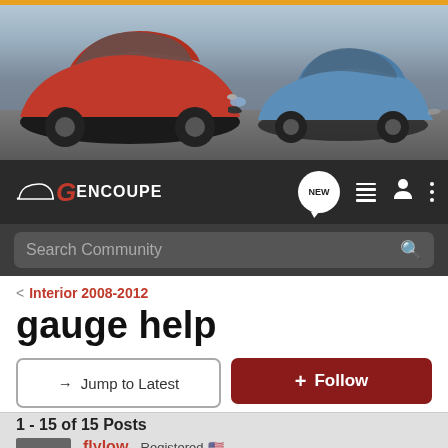[Figure (photo): Hero banner showing two sports cars (red Hyundai Genesis Coupe in foreground, blue one in background) on a road with desert landscape]
[Figure (logo): GenCoupe community logo with red G and white text on dark navbar, with NEW chat bubble icon, list icon, user icon, and more options icon]
Search Community
< Interior 2008-2012
gauge help
→ Jump to Latest
+ Follow
1 - 15 of 15 Posts
flylow · Registered 🇺🇸
Joined Apr 20, 2010 · 5,262 Posts